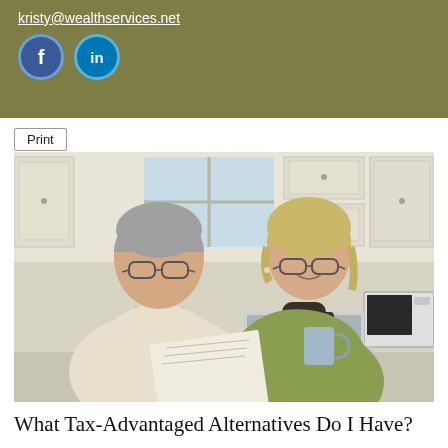kristy@wealthservices.net
Facebook and LinkedIn social media icons
Print
[Figure (photo): An older couple sitting together at a kitchen table, reviewing documents. The man on the left wears a cream cable-knit sweater over a plaid shirt and reading glasses. The woman on the right has short blonde hair, wears glasses, a dark turtleneck, and a green blazer, and holds a gray coffee mug. They are looking at paper documents together, with a laptop visible on the table in front of them. Kitchen cabinets and a microwave are visible in the background.]
What Tax-Advantaged Alternatives Do I Have?